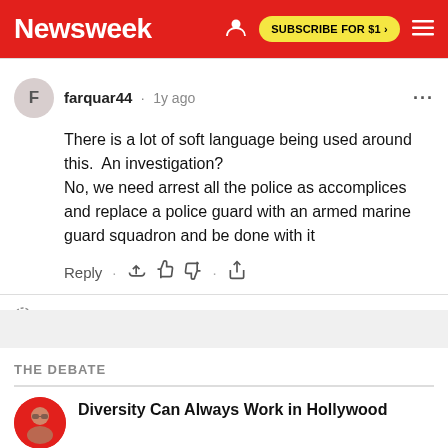Newsweek | SUBSCRIBE FOR $1 >
farquar44 · 1y ago
There is a lot of soft language being used around this.  An investigation?
No, we need arrest all the police as accomplices and replace a police guard with an armed marine guard squadron and be done with it
Reply · 👍 👎 · ⬆
OpenWeb    Terms  |  Privacy  |  Feedback
THE DEBATE
Diversity Can Always Work in Hollywood